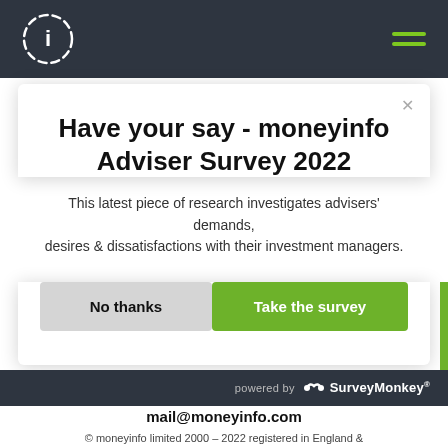moneyinfo logo and hamburger menu
Have your say - moneyinfo Adviser Survey 2022
This latest piece of research investigates advisers' demands, desires & dissatisfactions with their investment managers.
No thanks | Take the survey
powered by SurveyMonkey
mail@moneyinfo.com
© moneyinfo limited 2000 - 2022 registered in England &